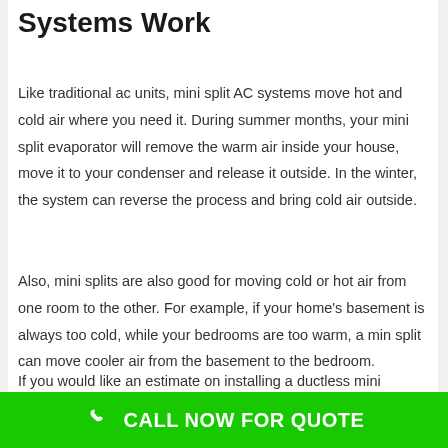Systems Work
Like traditional ac units, mini split AC systems move hot and cold air where you need it. During summer months, your mini split evaporator will remove the warm air inside your house, move it to your condenser and release it outside. In the winter, the system can reverse the process and bring cold air outside.
Also, mini splits are also good for moving cold or hot air from one room to the other. For example, if your home's basement is always too cold, while your bedrooms are too warm, a min split can move cooler air from the basement to the bedroom.
If you would like an estimate on installing a ductless mini
CALL NOW FOR QUOTE